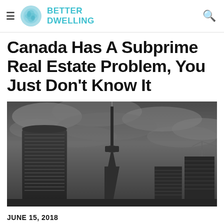BETTER DWELLING
Canada Has A Subprime Real Estate Problem, You Just Don't Know It
[Figure (photo): Dark moody skyline photo of Toronto showing the CN Tower in the center, a curved glass skyscraper on the left, other buildings on the right, under heavy overcast grey clouds]
JUNE 15, 2018